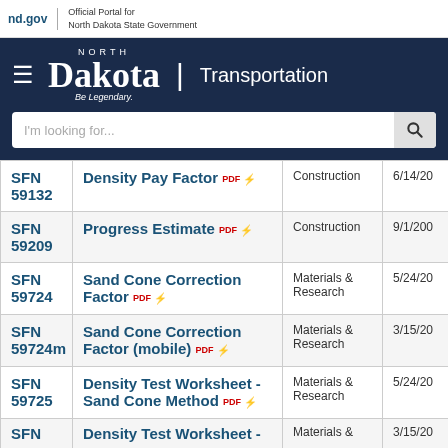nd.gov | Official Portal for North Dakota State Government
[Figure (screenshot): North Dakota Transportation website header with logo, navigation bar, and search bar]
| SFN | Name | Category | Date |
| --- | --- | --- | --- |
| SFN 59132 | Density Pay Factor [PDF] | Construction | 6/14/20... |
| SFN 59209 | Progress Estimate [PDF] | Construction | 9/1/200... |
| SFN 59724 | Sand Cone Correction Factor [PDF] | Materials & Research | 5/24/20... |
| SFN 59724m | Sand Cone Correction Factor (mobile) [PDF] | Materials & Research | 3/15/20... |
| SFN 59725 | Density Test Worksheet - Sand Cone Method [PDF] | Materials & Research | 5/24/20... |
| SFN | Density Test Worksheet - | Materials & | 3/15/20... |